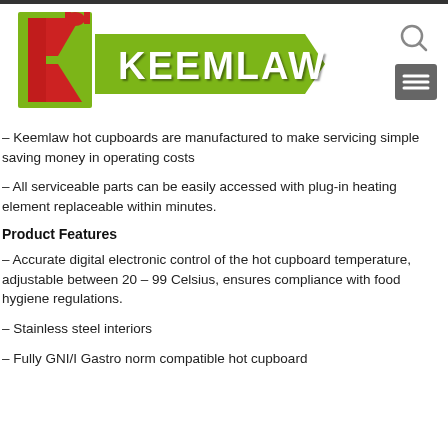[Figure (logo): Keemlaw logo with red K on green background and white text KEEMLAW on green banner]
– Keemlaw hot cupboards are manufactured to make servicing simple saving money in operating costs
– All serviceable parts can be easily accessed with plug-in heating element replaceable within minutes.
Product Features
– Accurate digital electronic control of the hot cupboard temperature, adjustable between 20 – 99 Celsius, ensures compliance with food hygiene regulations.
– Stainless steel interiors
– Fully GNI/I Gastro norm compatible hot cupboard